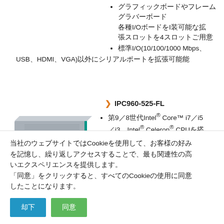グラフィックボードやフレームグラバーボード
各種I/OボードをI装可能な拡張スロットを4スロットご用意
標準I/O(10/100/1000 Mbps、USB、HDMI、VGA)以外にシリアルポートを拡張可能能
IPC960-525-FL
[Figure (photo): Industrial PC unit IPC960-525-FL, a box-type computer with ports on the front panel]
第9／8世代Intel® Core™ i7／i5／i3、Intel® Celeron® CPUを搭載可能
当社のウェブサイトではCookieを使用して、お客様の好みを記憶し、繰り返しアクセスすることで、最も関連性の高いエクスペリエンスを提供します。
「同意」をクリックすると、すべてのCookieの使用に同意したことになります。
却下　同意